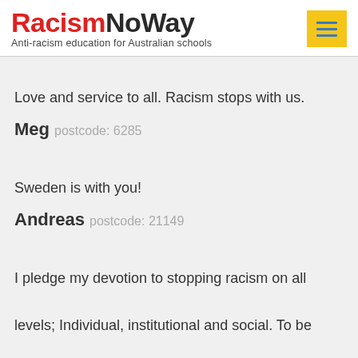RacismNoWay — Anti-racism education for Australian schools
Love and service to all. Racism stops with us.
Meg postcode: 6285
Sweden is with you!
Andreas postcode: 21149
I pledge my devotion to stopping racism on all levels; Individual, institutional and social. To be aware of my own limited knowledge of the